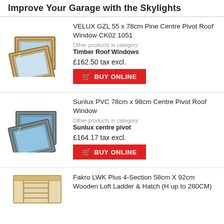Improve Your Garage with the Skylights
VELUX GZL 55 x 78cm Pine Centre Pivot Roof Window CK02 1051
Other products in category: Timber Roof Windows
£162.50 tax excl.
BUY ONLINE
Sunlux PVC 78cm x 98cm Centre Pivot Roof Window
Other products in category: Sunlux centre pivot
£164.17 tax excl.
BUY ONLINE
Fakro LWK Plus 4-Section 58cm X 92cm Wooden Loft Ladder & Hatch (H up to 280CM)